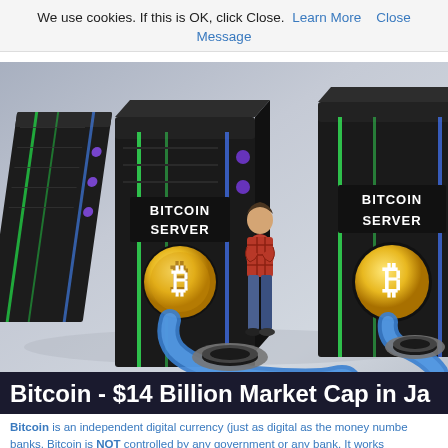We use cookies. If this is OK, click Close. Learn More  Close
Message
[Figure (illustration): 3D illustration of large black server racks labeled 'BITCOIN SERVER' with gold Bitcoin coin logos, a person standing between them, and blue cables flowing into gray ring connectors on the floor. Background is light gray/blue gradient.]
Bitcoin - $14 Billion Market Cap in Ja
Bitcoin is an independent digital currency (just as digital as the money numbe banks. Bitcoin is NOT controlled by any government or any bank. It works